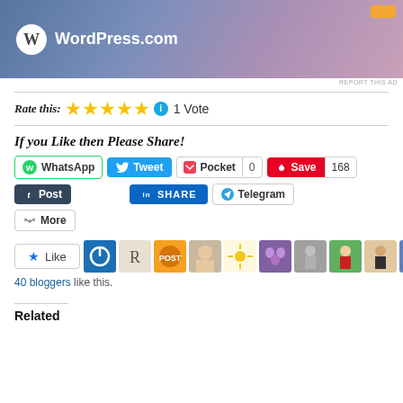[Figure (screenshot): WordPress.com advertisement banner with gradient blue-purple background and WordPress logo]
REPORT THIS AD
Rate this: ★★★★★ 1 Vote
If you Like then Please Share!
WhatsApp  Tweet  Pocket 0  Save 168  Post  SHARE  Telegram  More
Like  40 bloggers like this.
Related